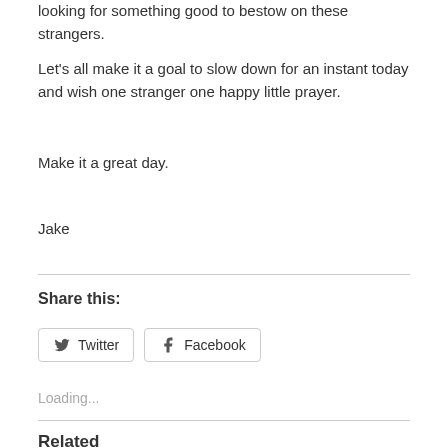looking for something good to bestow on these strangers.
Let's all make it a goal to slow down for an instant today and wish one stranger one happy little prayer.
Make it a great day.
Jake
Share this:
Twitter  Facebook
Loading...
Related